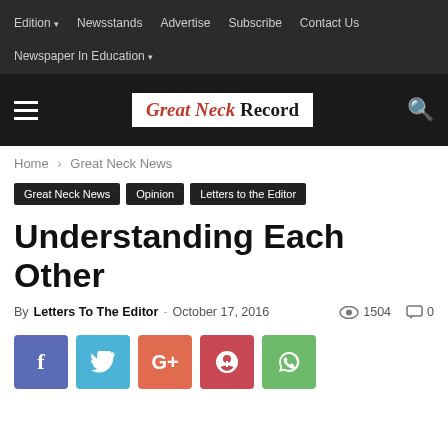Edition ▾   Newsstands   Advertise   Subscribe   Contact Us   Newspaper In Education ▾
[Figure (logo): Great Neck Record newspaper logo in white and red on dark background]
Home › Great Neck News
Great Neck News   Opinion   Letters to the Editor
Understanding Each Other
By Letters To The Editor - October 17, 2016   1504   0
[Figure (infographic): Social share buttons: Facebook (blue-purple), Twitter (light blue), Google+ (orange-red), Pinterest (red), WhatsApp (green)]